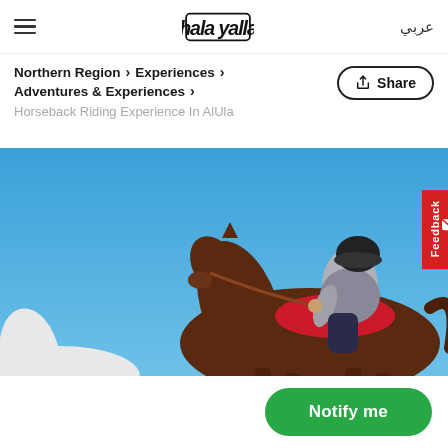≡  hala yalla  عربي
Northern Region > Experiences > Adventures & Experiences > Horseback Riding Experience In AlUla
[Figure (photo): A person wearing a helmet riding a dark brown horse against a vivid blue sky, photographed from a low angle. A red Feedback tab is visible on the right edge.]
Notify me